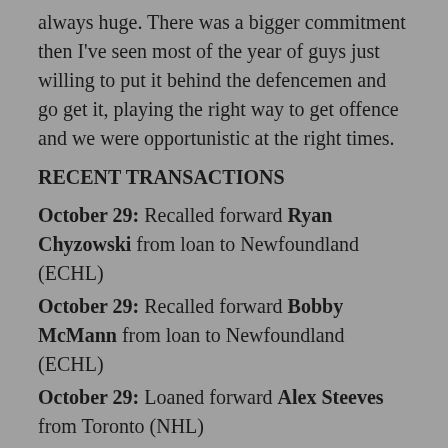always huge. There was a bigger commitment then I've seen most of the year of guys just willing to put it behind the defencemen and go get it, playing the right way to get offence and we were opportunistic at the right times.
RECENT TRANSACTIONS
October 29: Recalled forward Ryan Chyzowski from loan to Newfoundland (ECHL)
October 29: Recalled forward Bobby McMann from loan to Newfoundland (ECHL)
October 29: Loaned forward Alex Steeves from Toronto (NHL)
UPCOMING GAMES:
*All home & away games scheduled The...